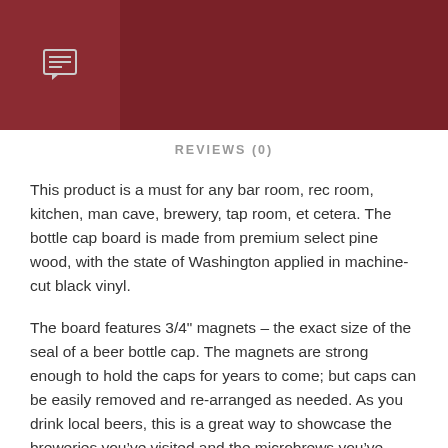[Figure (other): Dark red/maroon header banner with a chat/comment icon on the left side panel]
REVIEWS (0)
This product is a must for any bar room, rec room, kitchen, man cave, brewery, tap room, et cetera.  The bottle cap board is made from premium select pine wood, with the state of Washington applied in machine-cut black vinyl.
The board features 3/4" magnets – the exact size of the seal of a beer bottle cap.  The magnets are strong enough to hold the caps for years to come; but caps can be easily removed and re-arranged as needed.  As you drink local beers, this is a great way to showcase the breweries you've visited and the microbrews you've tried!  The sign includes twine on the back to easily hang on the wall, or can stand on a shelf or mantel.
This listing is for a Washington State...